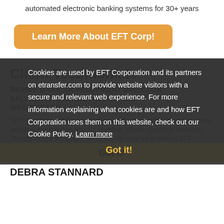automated electronic banking systems for 30+ years
Learn More About EFT Corp!
Client Testimonials
BERNIE DAKE, DEVELOPMENT DIRECTOR SALVATION ARMY METROPOLITAN WASHINGTON
"EFT Corp has enabled us to take donations electronically for years, with no additional maintenance, and it is seamless with our direct mail programs. The donors love this option. We couldn't do what we do without EFT."
Cookies are used by EFT Corporation and its partners on etransfer.com to provide website visitors with a secure and relevant web experience. For more information explaining what cookies are and how EFT Corporation uses them on this website, check out our Cookie Policy. Learn more
Got it!
DEBRA STANNARD